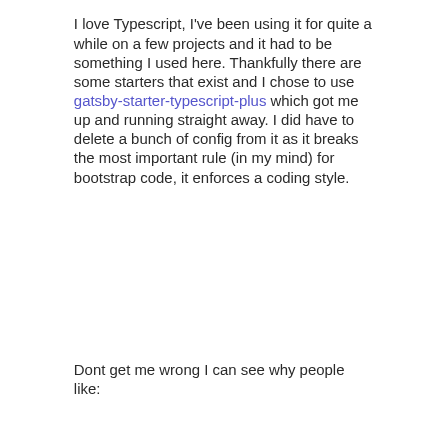I love Typescript, I've been using it for quite a while on a few projects and it had to be something I used here. Thankfully there are some starters that exist and I chose to use gatsby-starter-typescript-plus which got me up and running straight away. I did have to delete a bunch of config from it as it breaks the most important rule (in my mind) for bootstrap code, it enforces a coding style.
Dont get me wrong I can see why people like: